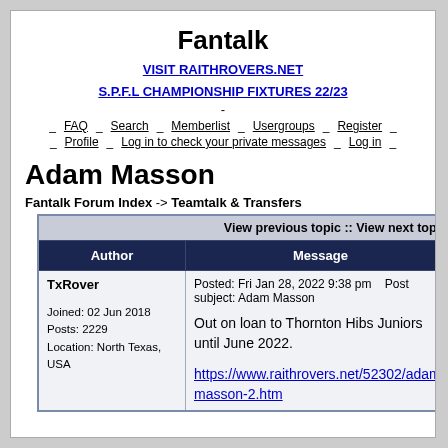Fantalk
VISIT RAITHROVERS.NET
S.P.F.L CHAMPIONSHIP FIXTURES 22/23
- FAQ Search Memberlist Usergroups Register
- Profile Log in to check your private messages Log in
Adam Masson
Fantalk Forum Index -> Teamtalk & Transfers
| Author | Message |
| --- | --- |
| TxRover

Joined: 02 Jun 2018
Posts: 2229
Location: North Texas, USA | Posted: Fri Jan 28, 2022 9:38 pm    Post subject: Adam Masson

Out on loan to Thornton Hibs Juniors until June 2022.

https://www.raithrovers.net/52302/adam-masson-2.htm |